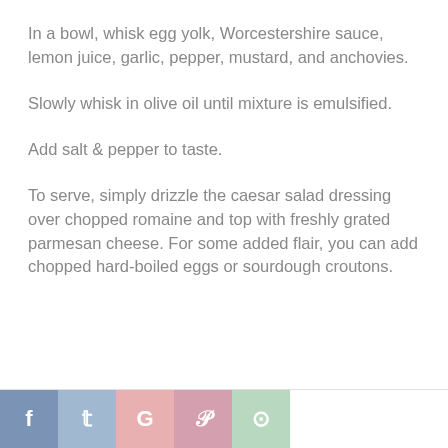In a bowl, whisk egg yolk, Worcestershire sauce, lemon juice, garlic, pepper, mustard, and anchovies.
Slowly whisk in olive oil until mixture is emulsified.
Add salt & pepper to taste.
To serve, simply drizzle the caesar salad dressing over chopped romaine and top with freshly grated parmesan cheese. For some added flair, you can add chopped hard-boiled eggs or sourdough croutons.